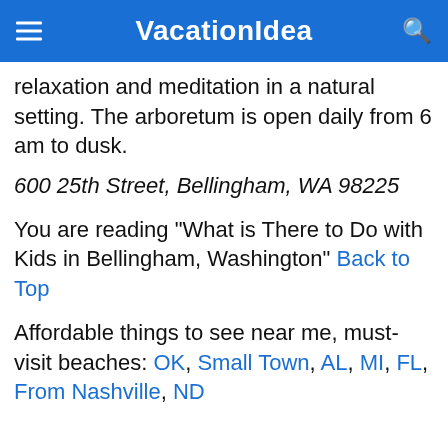VacationIdea
relaxation and meditation in a natural setting. The arboretum is open daily from 6 am to dusk.
600 25th Street, Bellingham, WA 98225
You are reading "What is There to Do with Kids in Bellingham, Washington" Back to Top
Affordable things to see near me, must-visit beaches: OK, Small Town, AL, MI, FL, From Nashville, ND